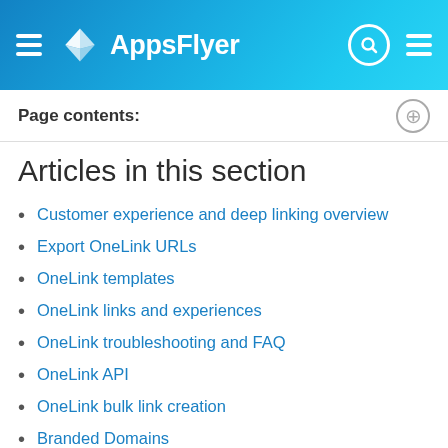AppsFlyer
Page contents:
Articles in this section
Customer experience and deep linking overview
Export OneLink URLs
OneLink templates
OneLink links and experiences
OneLink troubleshooting and FAQ
OneLink API
OneLink bulk link creation
Branded Domains